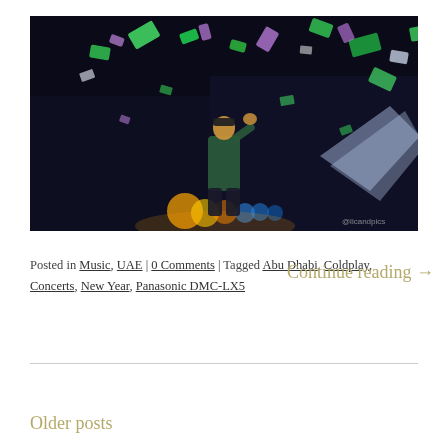[Figure (photo): Concert photo of a performer on stage surrounded by colorful confetti (green, purple, white) falling from above, with stage lights visible in the background. Dark atmosphere with dramatic lighting.]
Posted in Music, UAE | 0 Comments | Tagged Abu Dhabi, Coldplay, Concerts, New Year, Panasonic DMC-LX5
Continue reading →
Older posts